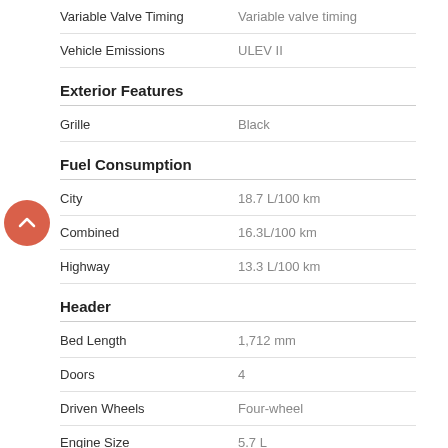| Feature | Value |
| --- | --- |
| Variable Valve Timing | Variable valve timing |
| Vehicle Emissions | ULEV II |
Exterior Features
| Feature | Value |
| --- | --- |
| Grille | Black |
Fuel Consumption
| Feature | Value |
| --- | --- |
| City | 18.7 L/100 km |
| Combined | 16.3L/100 km |
| Highway | 13.3 L/100 km |
Header
| Feature | Value |
| --- | --- |
| Bed Length | 1,712 mm |
| Doors | 4 |
| Driven Wheels | Four-wheel |
| Engine Size | 5.7 L |
| Fuel Type | Regular unleaded |
| Mfr Bed Type | Regular |